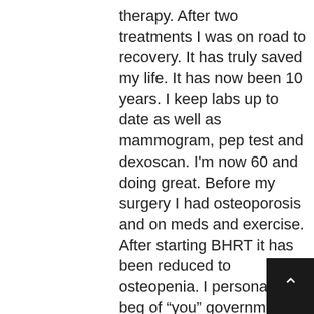therapy. After two treatments I was on road to recovery. It has truly saved my life. It has now been 10 years. I keep labs up to date as well as mammogram, pep test and dexoscan. I'm now 60 and doing great. Before my surgery I had osteoporosis and on meds and exercise. After starting BHRT it has been reduced to osteopenia. I personally beg of “you” government/ medical field. Do not mess with a proven good product. I could go on for days with all the good things and share cases of friends and relatives whom have had their lives changed due to BHRT. Note to anyone suffering from Parkinson’s disease. You need to check into this treatment